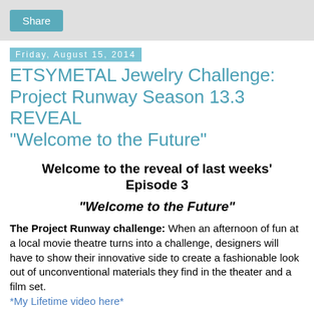Share
Friday, August 15, 2014
ETSYMETAL Jewelry Challenge: Project Runway Season 13.3 REVEAL "Welcome to the Future"
Welcome to the reveal of last weeks' Episode 3
"Welcome to the Future"
The Project Runway challenge: When an afternoon of fun at a local movie theatre turns into a challenge, designers will have to show their innovative side to create a fashionable look out of unconventional materials they find in the theater and a film set. *My Lifetime video here*
The EtsyMetal Translation: If you were making jewelry in 1994, revisit one of your own creations and update it for 20 years in the future, 2034!  Or, make a piece that is inspired by your life in